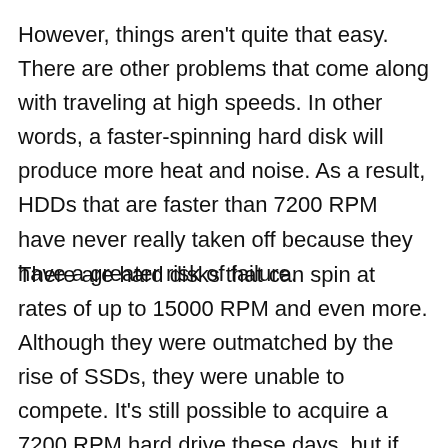However, things aren't quite that easy. There are other problems that come along with traveling at high speeds. In other words, a faster-spinning hard disk will produce more heat and noise. As a result, HDDs that are faster than 7200 RPM have never really taken off because they have a greater risk of failure.
There are hard disks that can spin at rates of up to 15000 RPM and even more. Although they were outmatched by the rise of SSDs, they were unable to compete. It's still possible to acquire a 7200 RPM hard drive these days, but if you're looking for a faster option, we strongly recommend an